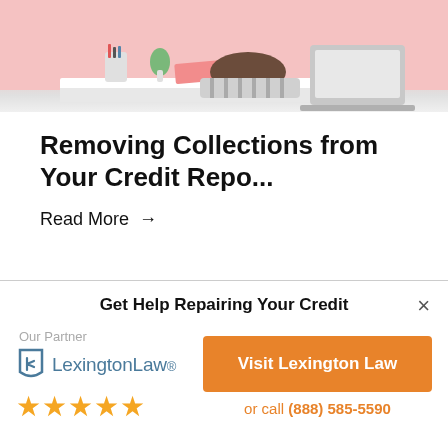[Figure (photo): Person sitting at a white desk with head down/face hidden, wearing a striped shirt, with a laptop, notebook, and pencil cup visible. Pink background.]
Removing Collections from Your Credit Repo...
Read More →
Get Help Repairing Your Credit
Our Partner
[Figure (logo): Lexington Law logo with shield icon]
[Figure (illustration): Five orange/gold star rating]
Visit Lexington Law
or call (888) 585-5590